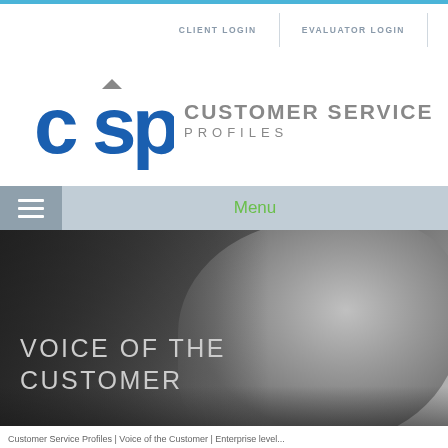CLIENT LOGIN | EVALUATOR LOGIN
[Figure (logo): CSP Customer Service Profiles logo with blue stylized letters CSP on the left and text CUSTOMER SERVICE PROFILES on the right]
Menu
[Figure (photo): Black and white hero banner image of a professional man with text overlay reading VOICE OF THE CUSTOMER]
Customer Service Profiles | Voice of the Customer | Enterprise level...